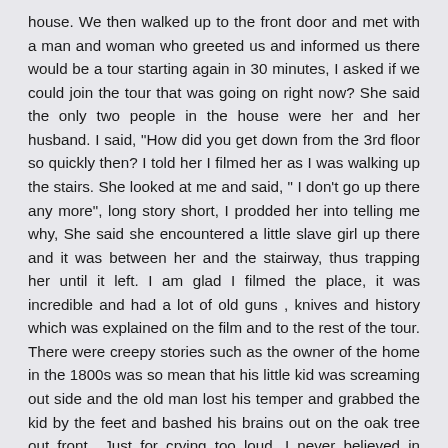house. We then walked up to the front door and met with a man and woman who greeted us and informed us there would be a tour starting again in 30 minutes, I asked if we could join the tour that was going on right now? She said the only two people in the house were her and her husband. I said, "How did you get down from the 3rd floor so quickly then? I told her I filmed her as I was walking up the stairs. She looked at me and said, " I don't go up there any more", long story short, I prodded her into telling me why, She said she encountered a little slave girl up there and it was between her and the stairway, thus trapping her until it left. I am glad I filmed the place, it was incredible and had a lot of old guns , knives and history which was explained on the film and to the rest of the tour. There were creepy stories such as the owner of the home in the 1800s was so mean that his little kid was screaming out side and the old man lost his temper and grabbed the kid by the feet and bashed his brains out on the oak tree out front.. Just for crying too loud. I never believed in ghosts before we happened by this place, but believe me, it will make a believer out of you. On the video I still have here you can here my little boy stating every few minutes,, "Dad can we